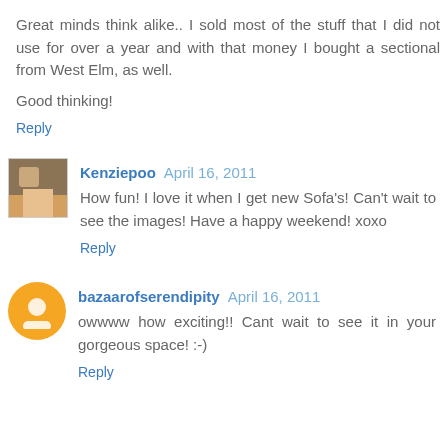Great minds think alike.. I sold most of the stuff that I did not use for over a year and with that money I bought a sectional from West Elm, as well.
Good thinking!
Reply
Kenziepoo  April 16, 2011
How fun! I love it when I get new Sofa's! Can't wait to see the images! Have a happy weekend! xoxo
Reply
bazaarofserendipity  April 16, 2011
owwww how exciting!! Cant wait to see it in your gorgeous space! :-)
Reply